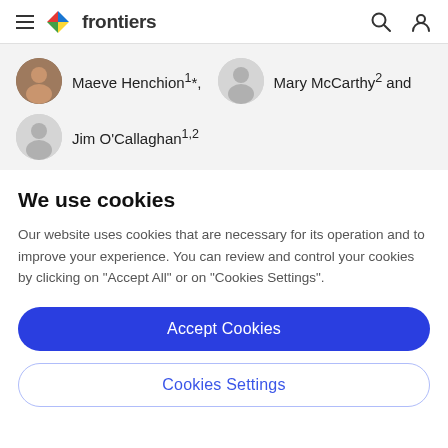frontiers
Maeve Henchion1*, Mary McCarthy2 and Jim O'Callaghan1,2
We use cookies
Our website uses cookies that are necessary for its operation and to improve your experience. You can review and control your cookies by clicking on "Accept All" or on "Cookies Settings".
Accept Cookies
Cookies Settings